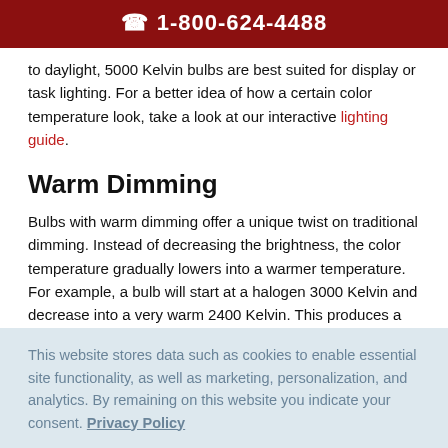1-800-624-4488
to daylight, 5000 Kelvin bulbs are best suited for display or task lighting. For a better idea of how a certain color temperature look, take a look at our interactive lighting guide.
Warm Dimming
Bulbs with warm dimming offer a unique twist on traditional dimming. Instead of decreasing the brightness, the color temperature gradually lowers into a warmer temperature. For example, a bulb will start at a halogen 3000 Kelvin and decrease into a very warm 2400 Kelvin. This produces a
This website stores data such as cookies to enable essential site functionality, as well as marketing, personalization, and analytics. By remaining on this website you indicate your consent. Privacy Policy